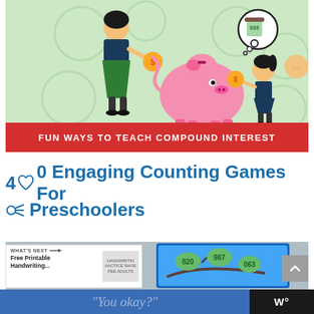[Figure (illustration): Educational illustration on light green background showing a woman with a gold coin and piggy bank, a girl with a gold coin, and a boy holding cash with a thought bubble showing a jar of money. Decorative circles in background.]
FUN WAYS TO TEACH COMPOUND INTEREST
40 Engaging Counting Games For Preschoolers
[Figure (screenshot): Screenshot of a tablet showing a counting game with numbers 820, 987, 063 on green leaves on branches, with blurred book shelf in background. Includes a 'What's Next' panel for 'Free Printable Handwriting...' and a scroll-up button.]
"You okay?"
[Figure (logo): Dark bar with Wordmark logo 'W°' in white on right side]